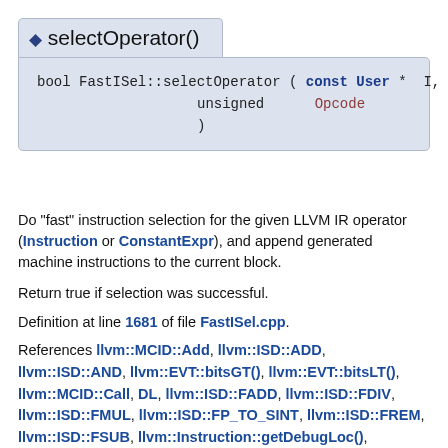◆ selectOperator()
bool FastISel::selectOperator ( const User * I, unsigned Opcode )
Do "fast" instruction selection for the given LLVM IR operator (Instruction or ConstantExpr), and append generated machine instructions to the current block.

Return true if selection was successful.

Definition at line 1681 of file FastISel.cpp.

References llvm::MCID::Add, llvm::ISD::ADD, llvm::ISD::AND, llvm::EVT::bitsGT(), llvm::EVT::bitsLT(), llvm::MCID::Call, DL, llvm::ISD::FADD, llvm::ISD::FDIV, llvm::ISD::FMUL, llvm::ISD::FP_TO_SINT, llvm::ISD::FREM, llvm::ISD::FSUB, llvm::Instruction::getDebugLoc(), llvm::BranchInst::getSuccessor(), I,